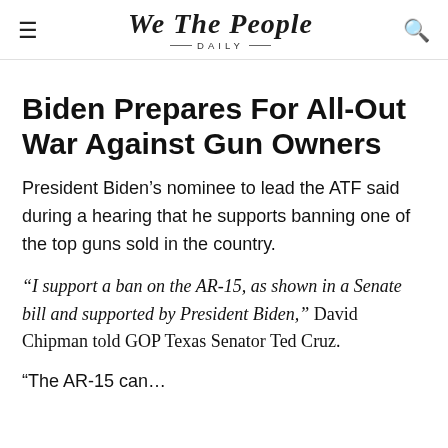We The People Daily
Biden Prepares For All-Out War Against Gun Owners
President Biden's nominee to lead the ATF said during a hearing that he supports banning one of the top guns sold in the country.
“I support a ban on the AR-15, as shown in a Senate bill and supported by President Biden,” David Chipman told GOP Texas Senator Ted Cruz.
“The AR-15 can…